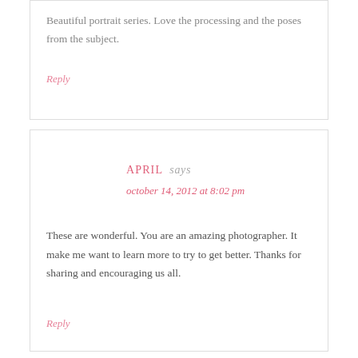Beautiful portrait series. Love the processing and the poses from the subject.
Reply
APRIL says
october 14, 2012 at 8:02 pm
These are wonderful. You are an amazing photographer. It make me want to learn more to try to get better. Thanks for sharing and encouraging us all.
Reply